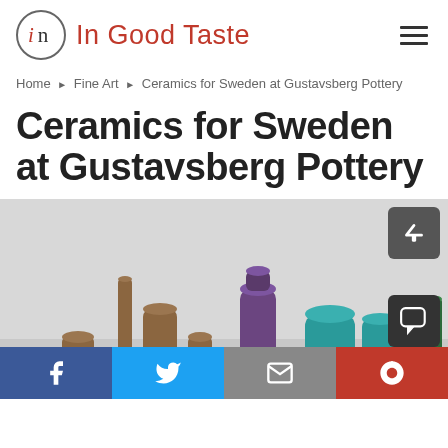In Good Taste
Home ▶ Fine Art ▶ Ceramics for Sweden at Gustavsberg Pottery
Ceramics for Sweden at Gustavsberg Pottery
[Figure (photo): Collection of Swedish ceramic pieces including vases, bowls, and vessels in various earthy and teal tones, displayed against a light gray background.]